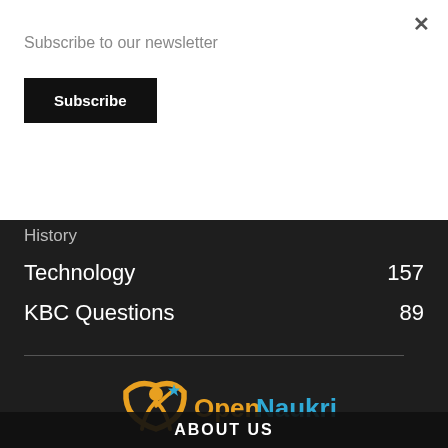Subscribe to our newsletter
Subscribe
History
Technology  157
KBC Questions  89
[Figure (logo): OpenNaukri logo with orange figure and blue/orange text]
ABOUT US